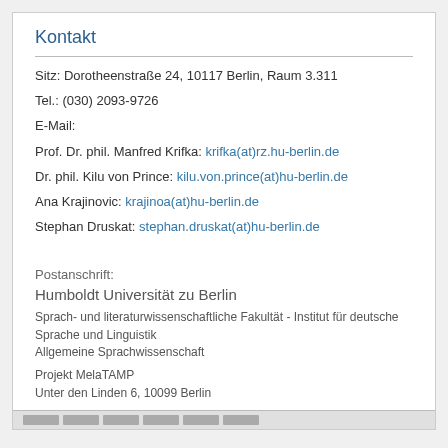Kontakt
Sitz: Dorotheenstraße 24, 10117 Berlin, Raum 3.311
Tel.: (030) 2093-9726
E-Mail:
Prof. Dr. phil. Manfred Krifka: krifka(at)rz.hu-berlin.de
Dr. phil. Kilu von Prince: kilu.von.prince(at)hu-berlin.de
Ana Krajinovic: krajinoa(at)hu-berlin.de
Stephan Druskat: stephan.druskat(at)hu-berlin.de
Postanschrift:
Humboldt Universität zu Berlin
Sprach- und literaturwissenschaftliche Fakultät - Institut für deutsche Sprache und Linguistik
Allgemeine Sprachwissenschaft
Projekt MelaTAMP
Unter den Linden 6, 10099 Berlin